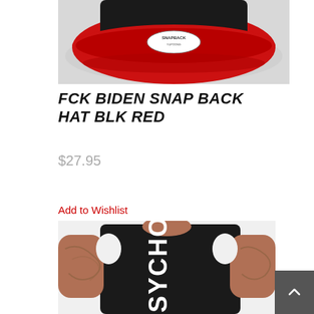[Figure (photo): Red and black snapback hat shown from above at an angle, with a white oval SNAPBACK label on the brim, on a light gray background.]
FCK BIDEN SNAP BACK HAT BLK RED
$27.95
Add to Wishlist
[Figure (photo): Man wearing a black sleeveless muscle tank top with white 'PSYCHO' text printed vertically on the left side. Man has heavily tattooed arms. White background.]